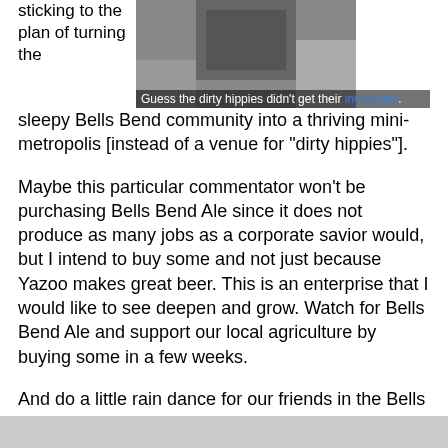sticking to the plan of turning the sleepy Bells Bend community into a thriving mini-metropolis [instead of a venue for "dirty hippies"].
[Figure (photo): A person in a black outfit, photo with caption: Guess the dirty hippies didn't get their invitations.]
Guess the dirty hippies didn't get their invitations.
Maybe this particular commentator won't be purchasing Bells Bend Ale since it does not produce as many jobs as a corporate savior would, but I intend to buy some and not just because Yazoo makes great beer. This is an enterprise that I would like to see deepen and grow. Watch for Bells Bend Ale and support our local agriculture by buying some in a few weeks.
And do a little rain dance for our friends in the Bells Bend Neighborhood Farms project. I understand their crops could use some rain.